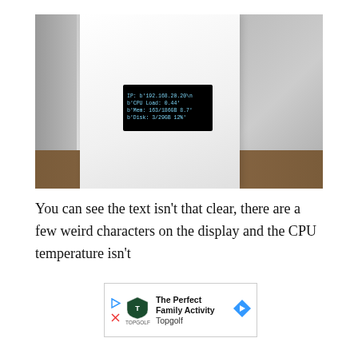[Figure (photo): Photo of a white rectangular device/enclosure with a small OLED display showing system stats: IP address b'192.168.20.20\n, b'CPU Load: 0.44', b'Mem: 163/186GB 8.7', b'Disk: 3/29GB 12%'. Background shows a brown table surface, a red LED light, and an out-of-focus dark background.]
You can see the text isn't that clear, there are a few weird characters on the display and the CPU temperature isn't
[Figure (other): Advertisement banner for Topgolf: 'The Perfect Family Activity' with Topgolf logo shield, a play button icon, an X close icon, and a blue navigation arrow on the right.]